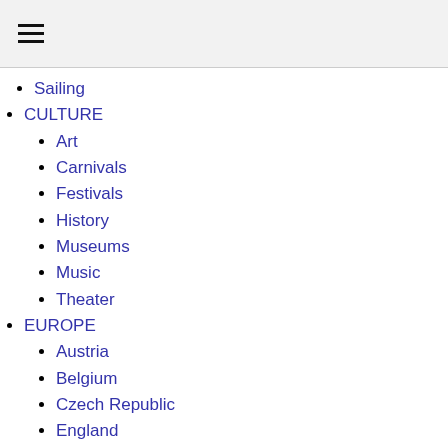≡ (hamburger menu icon)
Sailing
CULTURE
Art
Carnivals
Festivals
History
Museums
Music
Theater
EUROPE
Austria
Belgium
Czech Republic
England
France
Germany
Greece
Iceland
Ireland